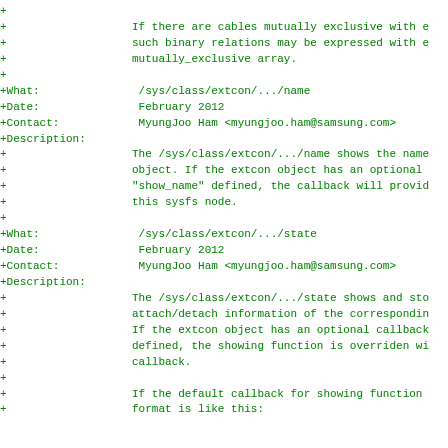+
+                   If there are cables mutually exclusive with e
+                   such binary relations may be expressed with e
+                   mutually_exclusive array.
+
+What:               /sys/class/extcon/.../name
+Date:               February 2012
+Contact:            MyungJoo Ham <myungjoo.ham@samsung.com>
+Description:
+                   The /sys/class/extcon/.../name shows the name
+                   object. If the extcon object has an optional
+                   "show_name" defined, the callback will provid
+                   this sysfs node.
+
+What:               /sys/class/extcon/.../state
+Date:               February 2012
+Contact:            MyungJoo Ham <myungjoo.ham@samsung.com>
+Description:
+                   The /sys/class/extcon/.../state shows and sto
+                   attach/detach information of the correspondin
+                   If the extcon object has an optional callback
+                   defined, the showing function is overriden wi
+                   callback.
+
+                   If the default callback for showing function
+                   format is like this: